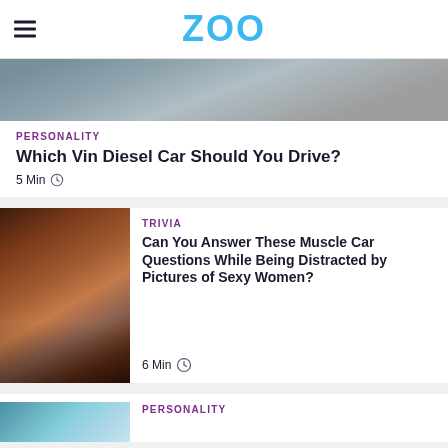ZOO
[Figure (photo): Partial photo of a car interior, dark tones, top of image visible]
PERSONALITY
Which Vin Diesel Car Should You Drive?
5 Min
[Figure (photo): Photo of a glamorous dark-haired woman posing near a car mirror]
TRIVIA
Can You Answer These Muscle Car Questions While Being Distracted by Pictures of Sexy Women?
6 Min
[Figure (photo): Partial photo at bottom, blue/teal tones]
PERSONALITY